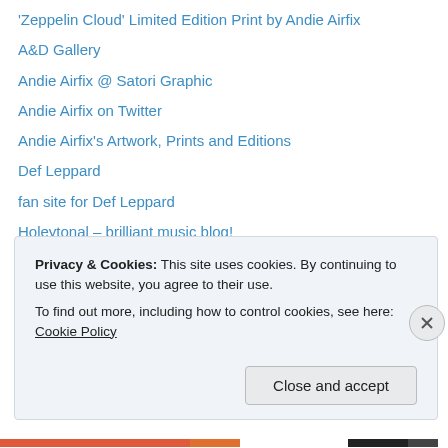'Zeppelin Cloud' Limited Edition Print by Andie Airfix
A&D Gallery
Andie Airfix @ Satori Graphic
Andie Airfix on Twitter
Andie Airfix's Artwork, Prints and Editions
Def Leppard
fan site for Def Leppard
Holeytonal – brilliant music blog!
James Taylor
La Maison R'Chard
Lorelei Shellist's new book Runway RunAway: A Backstage Pass to Fashion, Romance & Rock 'n Roll.
Madame Arcati – The premier showbiz and media clairvoyant!
Privacy & Cookies: This site uses cookies. By continuing to use this website, you agree to their use. To find out more, including how to control cookies, see here: Cookie Policy
Close and accept